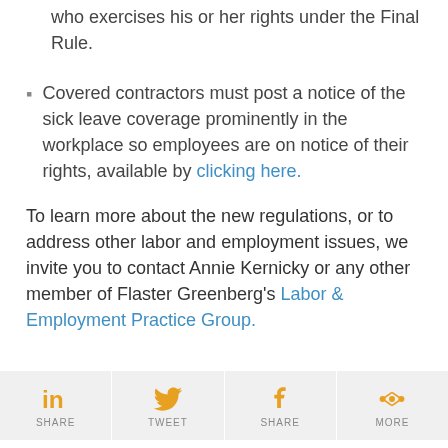who exercises his or her rights under the Final Rule.
Covered contractors must post a notice of the sick leave coverage prominently in the workplace so employees are on notice of their rights, available by clicking here.
To learn more about the new regulations, or to address other labor and employment issues, we invite you to contact Annie Kernicky or any other member of Flaster Greenberg's Labor & Employment Practice Group.
[Figure (infographic): Social sharing bar with four buttons: LinkedIn Share, Twitter Tweet, Facebook Share, and More (share icon). Icons are orange, labels are gray.]